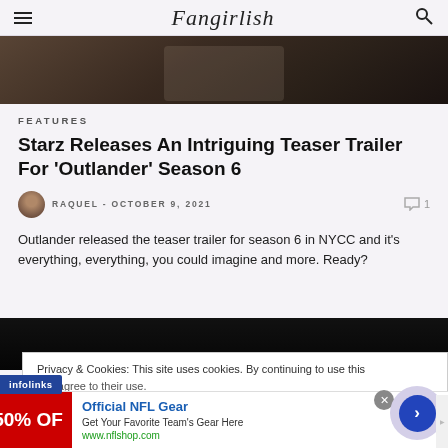Fangirlish
[Figure (photo): Dark moody hero image from Outlander showing a figure in period clothing]
FEATURES
Starz Releases An Intriguing Teaser Trailer For 'Outlander' Season 6
RAQUEL - OCTOBER 9, 2021  1
Outlander released the teaser trailer for season 6 in NYCC and it's everything, everything, you could imagine and more. Ready?
[Figure (screenshot): Black video player area]
Privacy & Cookies: This site uses cookies. By continuing to use this you agree to their use.
Official NFL Gear
Get Your Favorite Team's Gear Here
www.nflshop.com